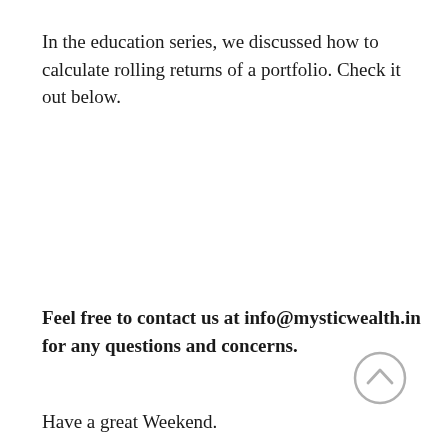In the education series, we discussed how to calculate rolling returns of a portfolio. Check it out below.
Feel free to contact us at info@mysticwealth.in for any questions and concerns.
[Figure (illustration): Circular up-arrow icon (chevron up) in grey outline style]
Have a great Weekend.